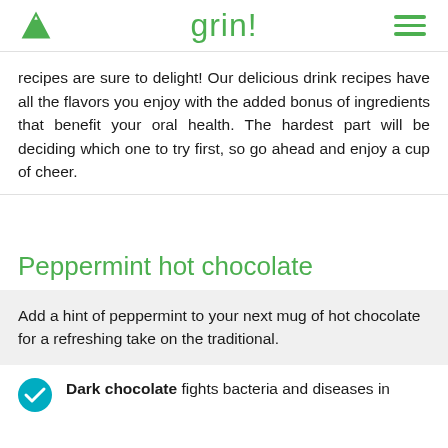grin!
recipes are sure to delight! Our delicious drink recipes have all the flavors you enjoy with the added bonus of ingredients that benefit your oral health. The hardest part will be deciding which one to try first, so go ahead and enjoy a cup of cheer.
Peppermint hot chocolate
Add a hint of peppermint to your next mug of hot chocolate for a refreshing take on the traditional.
Dark chocolate fights bacteria and diseases in